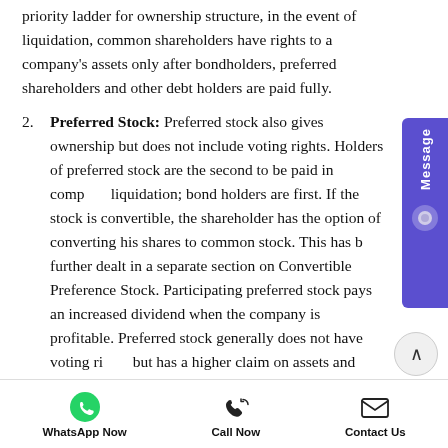priority ladder for ownership structure, in the event of liquidation, common shareholders have rights to a company's assets only after bondholders, preferred shareholders and other debt holders are paid fully.
2. Preferred Stock: Preferred stock also gives ownership but does not include voting rights. Holders of preferred stock are the second to be paid in company liquidation; bond holders are first. If the stock is convertible, the shareholder has the option of converting his shares to common stock. This has been further dealt in a separate section on Convertible Preference Stock. Participating preferred stock pays an increased dividend when the company is profitable. Preferred stock generally does not have voting rights but has a higher claim on assets and earnings than the
WhatsApp Now   Call Now   Contact Us